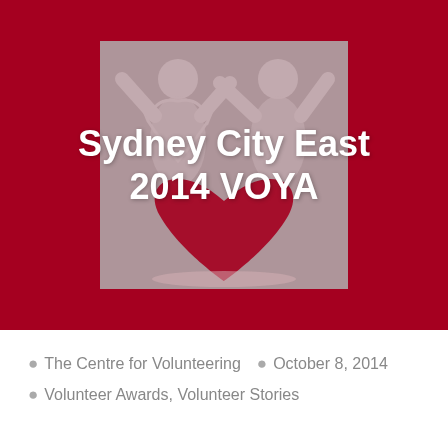[Figure (logo): Red background with a light gray logo showing stylized human figures with arms raised above a heart shape. White bold text overlay reads 'Sydney City East 2014 VOYA'.]
Sydney City East 2014 VOYA
The Centre for Volunteering   October 8, 2014   Volunteer Awards, Volunteer Stories